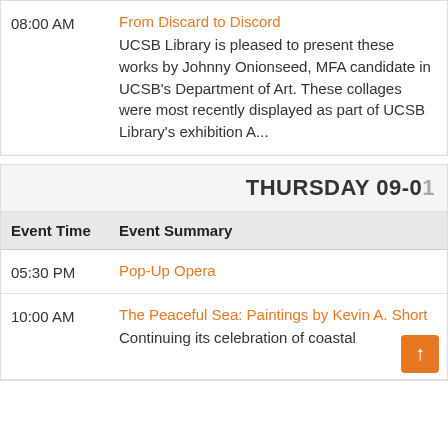| Event Time | Event Summary |
| --- | --- |
| 08:00 AM | From Discard to Discord
UCSB Library is pleased to present these works by Johnny Onionseed, MFA candidate in UCSB’s Department of Art. These collages were most recently displayed as part of UCSB Library’s exhibition A... |
THURSDAY 09-0…
| Event Time | Event Summary |
| --- | --- |
| 05:30 PM | Pop-Up Opera |
| 10:00 AM | The Peaceful Sea: Paintings by Kevin A. Short
Continuing its celebration of coastal... |